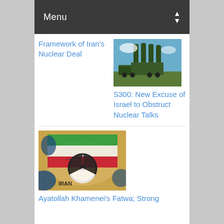Menu
Framework of Iran's Nuclear Deal
[Figure (photo): S300 missile launcher system on a truck in a field]
S300: New Excuse of Israel to Obstruct Nuclear Talks
[Figure (photo): Map of Iran with Iranian flag overlay and nuclear symbol]
Ayatollah Khamenei's Fatwa; Strong...